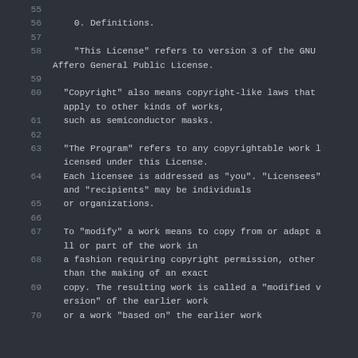55
56    0. Definitions.
57
58    "This License" refers to version 3 of the GNU Affero General Public License.
59
60  "Copyright" also means copyright-like laws that apply to other kinds of works,
61  such as semiconductor masks.
62
63  "The Program" refers to any copyrightable work licensed under this License.
64  Each licensee is addressed as "you". "Licensees" and "recipients" may be individuals
65  or organizations.
66
67  To "modify" a work means to copy from or adapt all or part of the work in
68  a fashion requiring copyright permission, other than the making of an exact
69  copy. The resulting work is called a "modified version" of the earlier work
70  or a work "based on" the earlier work